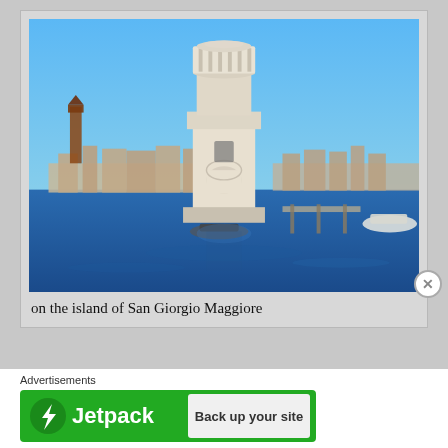[Figure (photo): A white lighthouse tower on the island of San Giorgio Maggiore in Venice, Italy, with blue water in the foreground and the Venice skyline including St. Mark's Campanile in the background under a clear blue sky.]
on the island of San Giorgio Maggiore
Advertisements
[Figure (other): Jetpack advertisement banner with green background showing Jetpack logo and lightning bolt icon on the left, and a 'Back up your site' button on the right.]